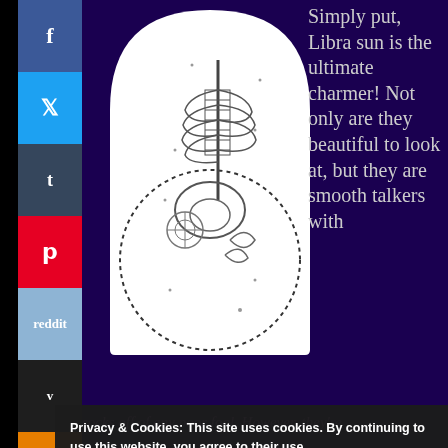[Figure (illustration): Anatomical illustration of a human skeleton torso and pelvis with floral/botanical elements, displayed inside a white arch shape with a dotted circular border below, on a dark purple background.]
Simply put, Libra sun is the ultimate charmer! Not only are they beautiful to look at, but they are smooth talkers with
Privacy & Cookies: This site uses cookies. By continuing to use this website, you agree to their use.
To find out more, including how to control cookies, see here: Cookie Policy
Close and accept
socks off of any poor fool. However, they're